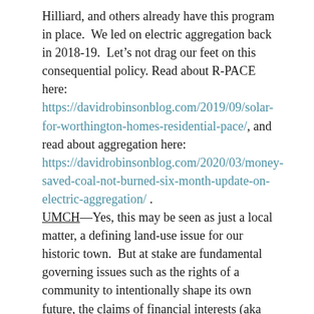Hilliard, and others already have this program in place.  We led on electric aggregation back in 2018-19.  Let's not drag our feet on this consequential policy. Read about R-PACE here: https://davidrobinsonblog.com/2019/09/solar-for-worthington-homes-residential-pace/, and read about aggregation here: https://davidrobinsonblog.com/2020/03/money-saved-coal-not-burned-six-month-update-on-electric-aggregation/ .
UMCH—Yes, this may be seen as just a local matter, a defining land-use issue for our historic town.  But at stake are fundamental governing issues such as the rights of a community to intentionally shape its own future, the claims of financial interests (aka “the market”) in driving governmental decisions, and the relative